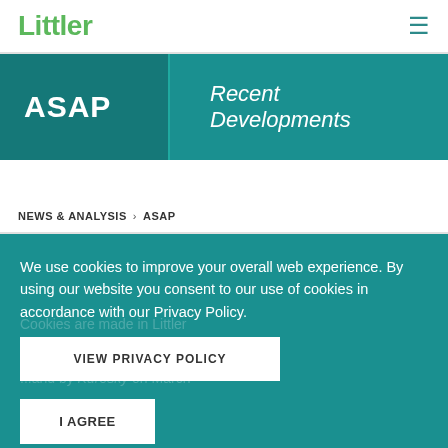Littler
ASAP  Recent Developments
NEWS & ANALYSIS > ASAP
We use cookies to improve your overall web experience. By using our website you consent to our use of cookies in accordance with our Privacy Policy.
VIEW PRIVACY POLICY
I AGREE